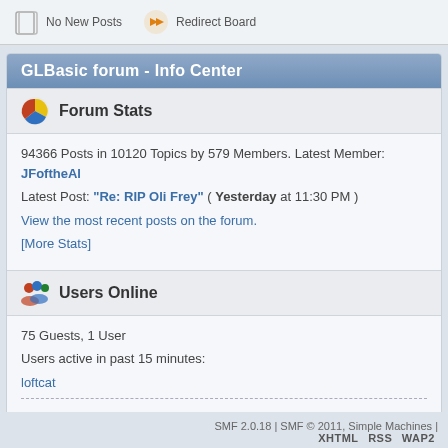No New Posts   Redirect Board
GLBasic forum - Info Center
Forum Stats
94366 Posts in 10120 Topics by 579 Members. Latest Member: JFoftheAl
Latest Post: "Re: RIP Oli Frey" ( Yesterday at 11:30 PM )
View the most recent posts on the forum.
[More Stats]
Users Online
75 Guests, 1 User
Users active in past 15 minutes:
loftcat
Most Online Today: 92. Most Online Ever: 967 (2020-Jan-22)
SMF 2.0.18 | SMF © 2011, Simple Machines | XHTML RSS WAP2